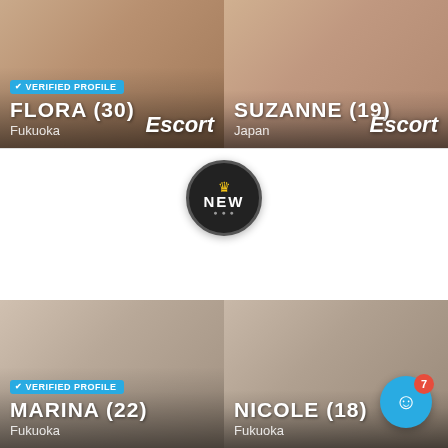[Figure (photo): Profile card for FLORA (30) from Fukuoka with Verified Profile badge and Escort label]
[Figure (photo): Profile card for SUZANNE (19) from Japan with Escort label]
[Figure (logo): NEW badge - circular dark badge with crown and NEW text]
[Figure (photo): Profile card for MARINA (22) from Fukuoka with Verified Profile badge]
[Figure (photo): Profile card for NICOLE (18) from Fukuoka]
[Figure (other): Chat support button with notification badge showing 7]